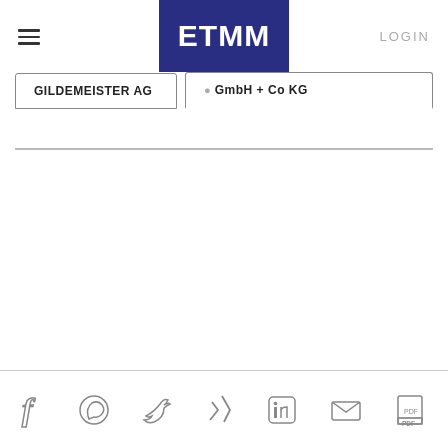ETMM — LOGIN | GILDEMEISTER AG | [GmbH + Co KG]
[Figure (logo): ETMM logo — white bold text on dark blue/indigo rectangle]
GILDEMEISTER AG
GmbH + Co KG
Social icons: Facebook, WhatsApp, Twitter, Xing, LinkedIn, Email, PDF